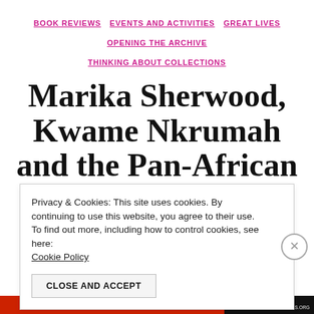BOOK REVIEWS  EVENTS AND ACTIVITIES  GREAT LIVES  OPENING THE ARCHIVE  THINKING ABOUT COLLECTIONS
Marika Sherwood, Kwame Nkrumah and the Pan-African Congress Archive
Privacy & Cookies: This site uses cookies. By continuing to use this website, you agree to their use.
To find out more, including how to control cookies, see here:
Cookie Policy
CLOSE AND ACCEPT